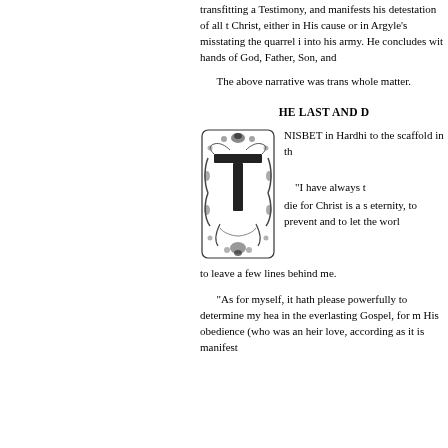transfitting a Testimony, and manifests his detestation of all things contrary to Christ, either in His cause or in His people; notices Argyle's misstating the quarrel in summoning men into his army. He concludes with committing to the hands of God, Father, Son, and Spirit.
The above narrative was transcribed from the whole matter.
HE LAST AND D
NISBET in Hardhi to the scaffold in th
[Figure (illustration): Ornate decorative letter T in an elaborate engraved frame with scrollwork and floral motifs]
"I have always t die for Christ is a s eternity, to prevent and to let the worl to leave a few lines behind me.
"As for myself, it hath please powerfully to determine my hea in the everlasting Gospel, for m His obedience (who was an heir love, according as it is manifest